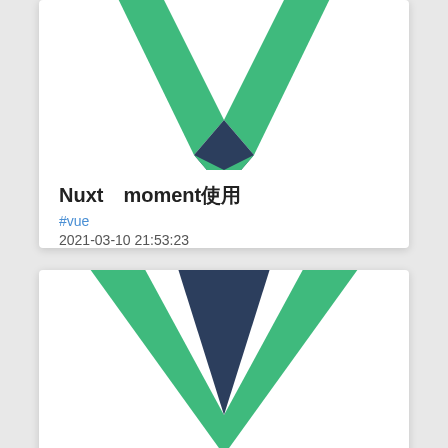[Figure (logo): Vue.js/Nuxt.js logo — green chevron/V shape with dark navy inner V, partial top crop, on white card background]
Nuxt moment使用
#vue
2021-03-10 21:53:23
[Figure (logo): Vue.js/Nuxt.js logo — large green chevron/V shape with dark navy inner V, partial bottom crop, on white card background]